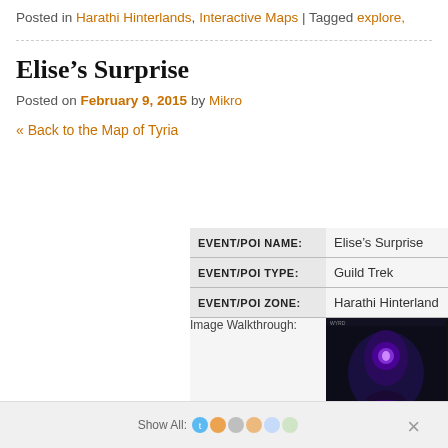Posted in Harathi Hinterlands, Interactive Maps | Tagged explore,
Elise’s Surprise
Posted on February 9, 2015 by Mikro
« Back to the Map of Tyria
| Field | Value |
| --- | --- |
| EVENT/POI NAME: | Elise’s Surprise |
| EVENT/POI TYPE: | Guild Trek |
| EVENT/POI ZONE: | Harathi Hinterland |
| Image Walkthrough: | (game screenshot) |
[Figure (screenshot): Dark fantasy game screenshot showing a glowing character or creature in dim cave/dungeon environment]
Show All: [icons] ×